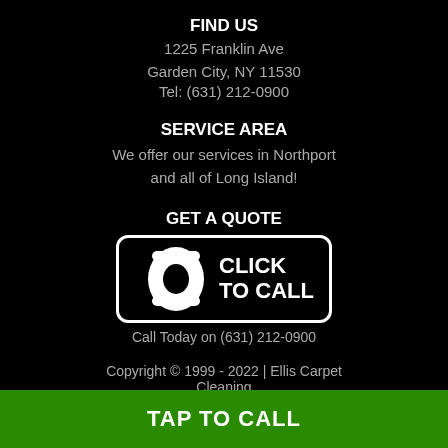FIND US
1225 Franklin Ave
Garden City, NY 11530
Tel: (631) 212-0900
SERVICE AREA
We offer our services in Northport and all of Long Island!
GET A QUOTE
[Figure (illustration): Click to call button with telephone handset icon and text CLICK TO CALL]
Call Today on (631) 212-0900
Copyright © 1999 - 2022 | Ellis Carpet Cleaning
TAP TO CALL